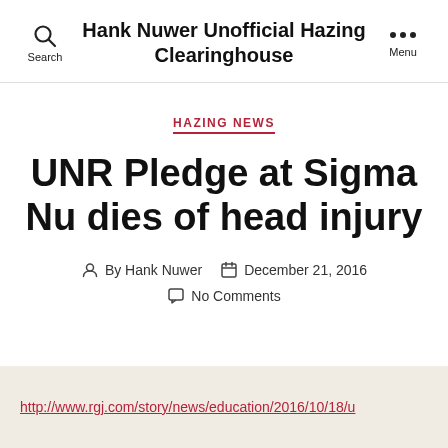Hank Nuwer Unofficial Hazing Clearinghouse
HAZING NEWS
UNR Pledge at Sigma Nu dies of head injury
By Hank Nuwer   December 21, 2016   No Comments
http://www.rgj.com/story/news/education/2016/10/18/u